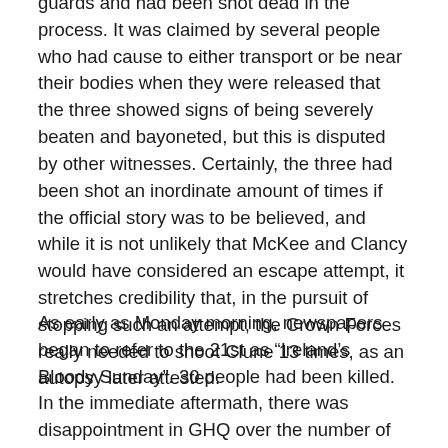guards and had been shot dead in the process. It was claimed by several people who had cause to either transport or be near their bodies when they were released that the three showed signs of being severely beaten and bayoneted, but this is disputed by other witnesses. Certainly, the three had been shot an inordinate amount of times if the official story was to be believed, and while it is not unlikely that McKee and Clancy would have considered an escape attempt, it stretches credibility that, in the pursuit of stopping such an attempt, the Crown Forces really needed to shoot Clune 13 times, as an autopsy later attested.
As early as Monday morning, newspapers began to refer to the 21st as “Ireland’s Bloody Sunday”. 30 people had been killed. In the immediate aftermath, there was disappointment in GHQ over the number of attacks that